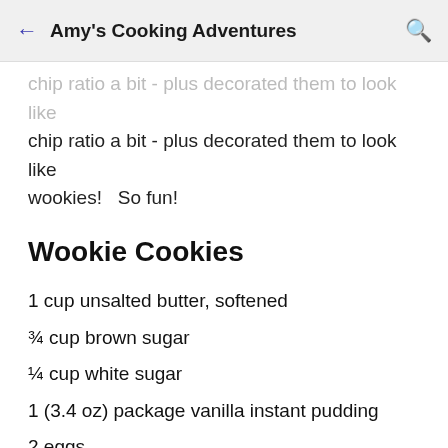Amy's Cooking Adventures
chip ratio a bit - plus decorated them to look like wookies!   So fun!
Wookie Cookies
1 cup unsalted butter, softened
¾ cup brown sugar
¼ cup white sugar
1 (3.4 oz) package vanilla instant pudding
2 eggs
1 tsp vanilla extract
1 tsp baking soda